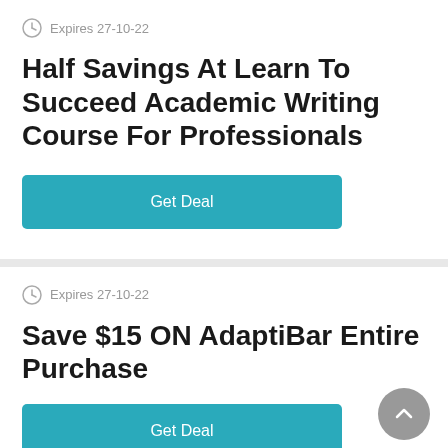Expires 27-10-22
Half Savings At Learn To Succeed Academic Writing Course For Professionals
Get Deal
Expires 27-10-22
Save $15 ON AdaptiBar Entire Purchase
Get Deal